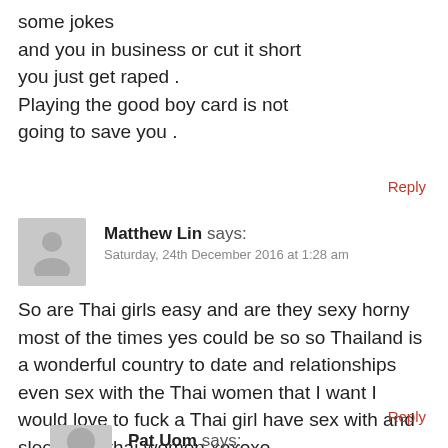some jokes
and you in business or cut it short
you just get raped .
Playing the good boy card is not
going to save you .
Reply
Matthew Lin says:
Saturday, 24th December 2016 at 1:28 am
So are Thai girls easy and are they sexy horny most of the times yes could be so so Thailand is a wonderful country to date and relationships even sex with the Thai women that I want I would love to fuck a Thai girl have sex with and sleep with thai women xoxoxo.
Reply
Pat Uom says:
Friday, 15th July 2016 at 5:22 pm